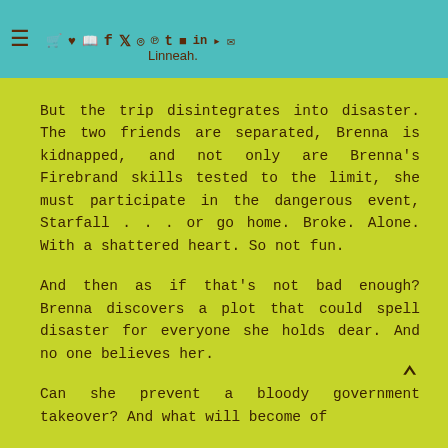≡ [cart] [heart] [book] f [twitter] [instagram] p t [youtube] in [rss] [mail] Linneah.
But the trip disintegrates into disaster. The two friends are separated, Brenna is kidnapped, and not only are Brenna's Firebrand skills tested to the limit, she must participate in the dangerous event, Starfall . . . or go home. Broke. Alone. With a shattered heart. So not fun.
And then as if that's not bad enough? Brenna discovers a plot that could spell disaster for everyone she holds dear. And no one believes her.
Can she prevent a bloody government takeover? And what will become of